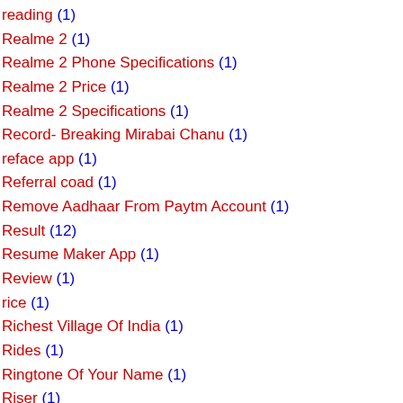reading (1)
Realme 2 (1)
Realme 2 Phone Specifications (1)
Realme 2 Price (1)
Realme 2 Specifications (1)
Record- Breaking Mirabai Chanu (1)
reface app (1)
Referral coad (1)
Remove Aadhaar From Paytm Account (1)
Result (12)
Resume Maker App (1)
Review (1)
rice (1)
Richest Village Of India (1)
Rides (1)
Ringtone Of Your Name (1)
Riser (1)
RPF CONSTABLE RESULT (3)
RRB (12)